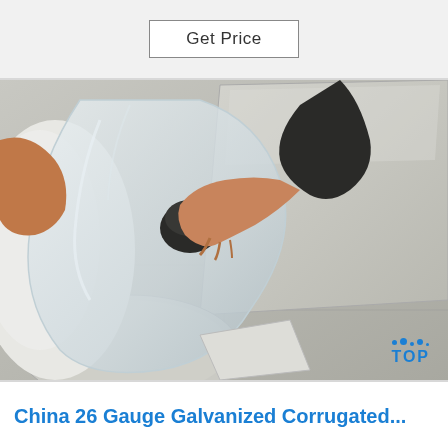Get Price
[Figure (photo): A person's hand holding a plastic bag open while another hand pours or places something inside; large flat sheets of metal or material visible on a surface in the background. A watermark logo reading TOP is in the bottom right corner.]
China 26 Gauge Galvanized Corrugated...